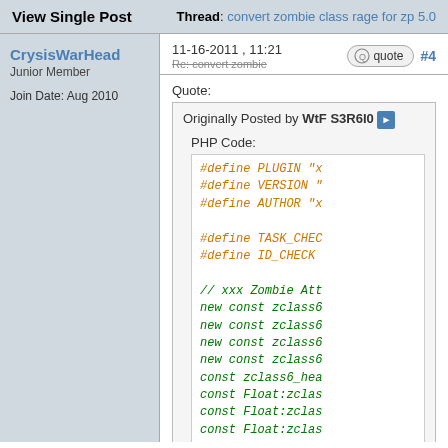View Single Post | Thread: convert zombie class rage for zp 5.0
CrysisWarHead
Junior Member
Join Date: Aug 2010
11-16-2011 , 11:21  #4
Quote:
Originally Posted by WtF S3R6I0
PHP Code:
#define PLUGIN "x
#define VERSION "
#define AUTHOR "x

#define TASK_CHEC
#define ID_CHECK

// xxx Zombie Att
new const zclass6
new const zclass6
new const zclass6
new const zclass6
const zclass6_hea
const Float:zclas
const Float:zclas
const Float:zclas